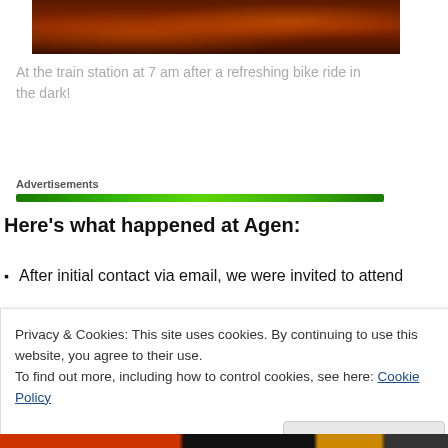[Figure (photo): Dark reddish-orange photo of a train station scene at night or early morning, partially cropped at top]
At the train station at 7 am after a refreshing bike ride in the dark!
Advertisements
Here's what happened at Agen:
After initial contact via email, we were invited to attend
Privacy & Cookies: This site uses cookies. By continuing to use this website, you agree to their use.
To find out more, including how to control cookies, see here: Cookie Policy
Close and accept